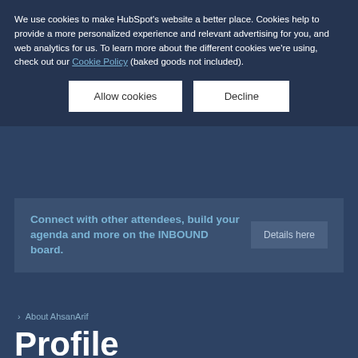We use cookies to make HubSpot's website a better place. Cookies help to provide a more personalized experience and relevant advertising for you, and web analytics for us. To learn more about the different cookies we're using, check out our Cookie Policy (baked goods not included).
Allow cookies
Decline
Connect with other attendees, build your agenda and more on the INBOUND board.
Details here
> About AhsanArif
Profile
[Figure (illustration): Partial view of a stylized avatar/profile icon showing a person with a circle graphic element in light and dark blue tones]